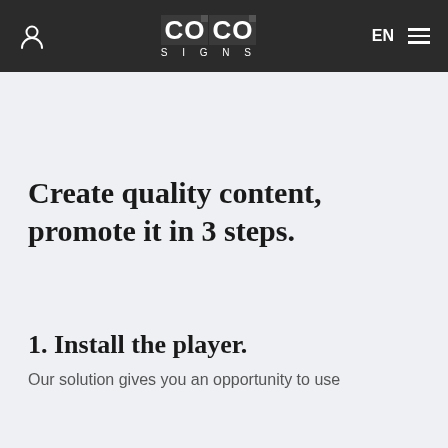COCO SIGNS — navigation bar with user icon, logo, EN language selector, and menu icon
Create quality content, promote it in 3 steps.
1. Install the player.
Our solution gives you an opportunity to use